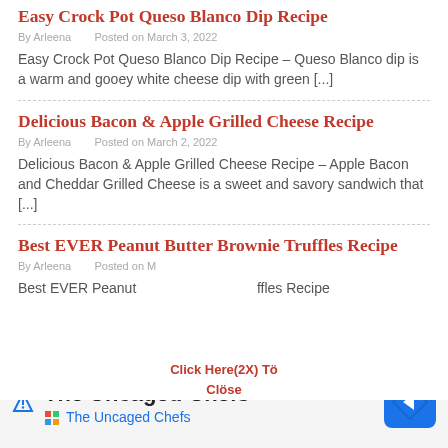Easy Crock Pot Queso Blanco Dip Recipe
By Arleena   Posted on March 3, 2022
Easy Crock Pot Queso Blanco Dip Recipe – Queso Blanco dip is a warm and gooey white cheese dip with green [...]
Delicious Bacon & Apple Grilled Cheese Recipe
By Arleena   Posted on March 2, 2022
Delicious Bacon & Apple Grilled Cheese Recipe – Apple Bacon and Cheddar Grilled Cheese is a sweet and savory sandwich that [...]
Best EVER Peanut Butter Brownie Truffles Recipe
By Arleena   Posted on M...
Best EVER Peanut ... ffles Recipe...
Click Here(2X) Tö
Clöse
The Uncaged Chefs
The Uncaged Chefs